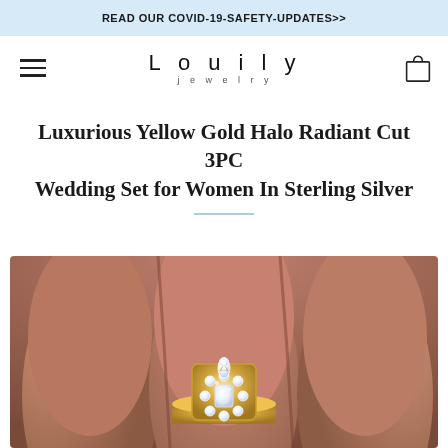READ OUR COVID-19-SAFETY-UPDATES>>
[Figure (logo): Louily Jewelry brand logo with hamburger menu and shopping bag icon in navigation bar]
Luxurious Yellow Gold Halo Radiant Cut 3PC Wedding Set for Women In Sterling Silver
[Figure (photo): Close-up photo of a hand wearing a luxurious yellow gold halo radiant cut diamond wedding ring set, showing the ring on fingers with a blurred background]